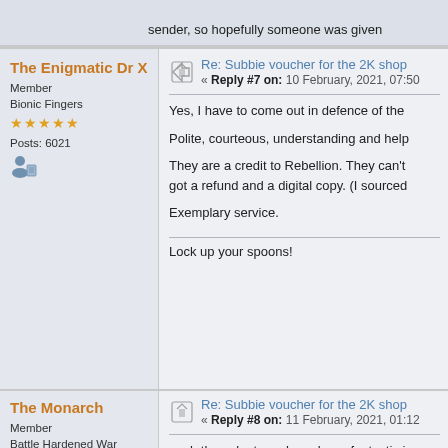sender, so hopefully someone was given
The Enigmatic Dr X
Member
Bionic Fingers
Posts: 6021
Re: Subbie voucher for the 2K shop
« Reply #7 on: 10 February, 2021, 07:50
Yes, I have to come out in defence of the
Polite, courteous, understanding and help
They are a credit to Rebellion. They can't got a refund and a digital copy. (I sourced
Exemplary service.
Lock up your spoons!
The Monarch
Member
Battle Hardened War Robot
Posts: 3924
no 1 chris weston fan
Re: Subbie voucher for the 2K shop
« Reply #8 on: 11 February, 2021, 01:12
yeah the subs team have been fantastic i work. they should def be praised not sha